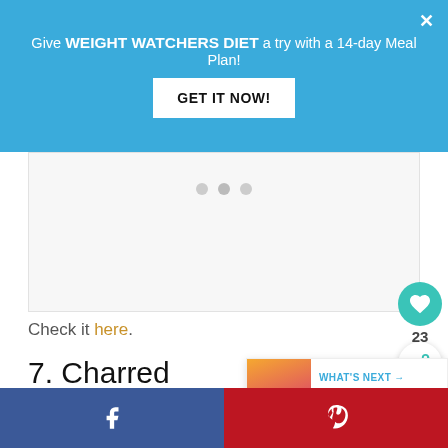Give WEIGHT WATCHERS DIET a try with a 14-day Meal Plan! GET IT NOW!
[Figure (screenshot): Advertisement placeholder area with three dots/circles indicating a slideshow or carousel]
Check it here.
7. Charred Lime Gin & Tonic wi...
[Figure (infographic): WHAT'S NEXT → 13 Healthy Fruit Cupca... sidebar widget with thumbnail image]
Facebook share | Pinterest share